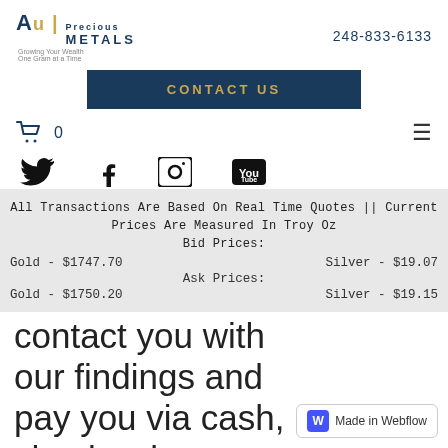Au | Precious METALS — Growing Your Wealth One Gram at a Time — 248-833-6133
CONTACT US
0
[Figure (illustration): Twitter, Facebook, Instagram, YouTube social media icons]
All Transactions Are Based On Real Time Quotes || Current Prices Are Measured In Troy Oz
Bid Prices:
Gold - $1747.70   Silver - $19.07
Ask Prices:
Gold - $1750.20   Silver - $19.15
contact you with our findings and pay you via cash, check, wire, or bullion. It's that